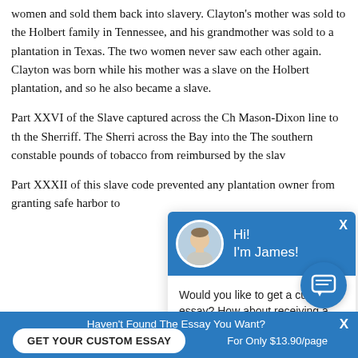women and sold them back into slavery. Clayton's mother was sold to the Holbert family in Tennessee, and his grandmother was sold to a plantation in Texas. The two women never saw each other again. Clayton was born while his mother was a slave on the Holbert plantation, and so he also became a slave.
Part XXVI of the Slave [code described slaves] captured across the Ch[esapeake and brought past the] Mason-Dixon line to th[e southern constable and] the Sherriff. The Sherri[ff would then take them] across the Bay into the[ northern colonies]. The southern constable[ received a bounty of 500] pounds of tobacco from[ the state and would be] reimbursed by the slav[e's owner].
[Figure (screenshot): Chat popup widget with blue header showing avatar of a young man and text 'Hi! I'm James!', body with text 'Would you like to get a custom essay? How about receiving a customized one?' and a 'Check it out' link.]
Part XXXII of this slave code prevented any plantation owner from granting safe harbor to
[Figure (screenshot): Bottom blue bar with text 'Haven't Found The Essay You Want?', a white rounded button 'GET YOUR CUSTOM ESSAY', text 'For Only $13.90/page', and a close X.]